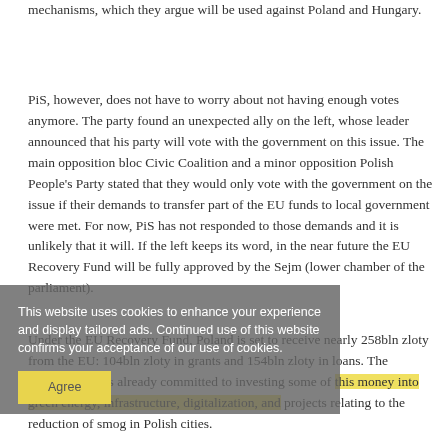mechanisms, which they argue will be used against Poland and Hungary.
PiS, however, does not have to worry about not having enough votes anymore. The party found an unexpected ally on the left, whose leader announced that his party will vote with the government on this issue. The main opposition bloc Civic Coalition and a minor opposition Polish People's Party stated that they would only vote with the government on the issue if their demands to transfer part of the EU funds to local government were met. For now, PiS has not responded to those demands and it is unlikely that it will. If the left keeps its word, in the near future the EU Recovery Fund will be fully approved by the Sejm (lower chamber of the parliament).
[Figure (screenshot): Cookie consent overlay banner with text: 'This website uses cookies to enhance your experience and display tailored ads. Continued use of this website confirms your acceptance of our use of cookies.' with an 'Agree' button.]
Under the EU Recovery Fund, Poland is set to receive nearly 258bln zloty from the EU: 104bln zloty in grants and 154bln zloty in loans. The government has already committed to investing some of this money into green energy, infrastructure, digitalization, and projects relating to the reduction of smog in Polish cities.